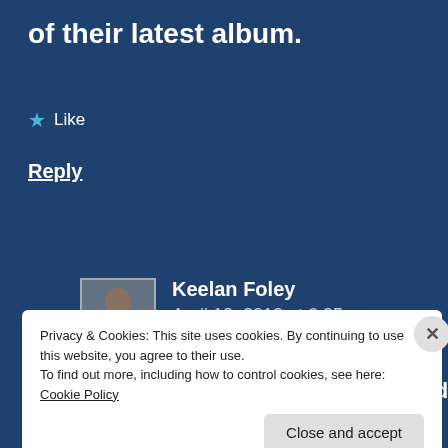of their latest album.
★ Like
Reply
Keelan Foley
April 12, 2012 at 6:35 pm
Honestly, El Camino is how I discovered
Privacy & Cookies: This site uses cookies. By continuing to use this website, you agree to their use.
To find out more, including how to control cookies, see here: Cookie Policy
Close and accept